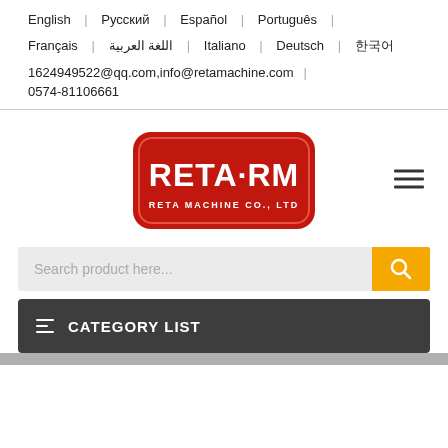English | Русский | Español | Português |
Français | اللغة العربية | Italiano | Deutsch | 한국어
1624949522@qq.com,info@retamachine.com |
0574-81106661
[Figure (logo): RETA·RM RETA MACHINE CO., LTD red rounded rectangle logo]
Search product here...
≡ CATEGORY LIST